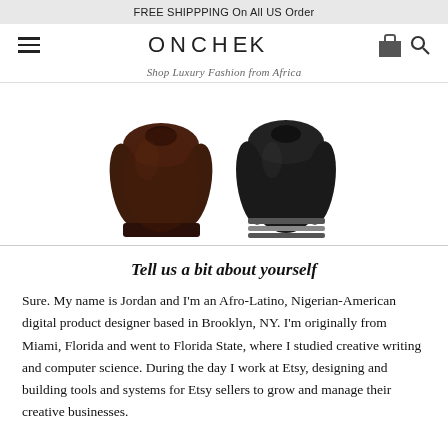FREE SHIPPPING On All US Order
[Figure (logo): ONCHEK logo with hamburger menu icon on left and shopping bag + search icon on right]
Shop Luxury Fashion from Africa
[Figure (photo): Two sweaters: a brown/dark red knit sweater on the left and a black knit sweater with stripe details on the right]
Tell us a bit about yourself
Sure. My name is Jordan and I'm an Afro-Latino, Nigerian-American digital product designer based in Brooklyn, NY. I'm originally from Miami, Florida and went to Florida State, where I studied creative writing and computer science. During the day I work at Etsy, designing and building tools and systems for Etsy sellers to grow and manage their creative businesses.